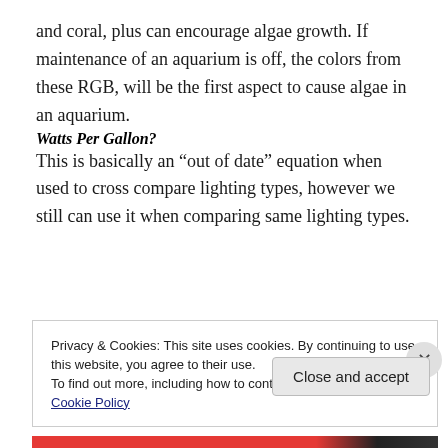and coral, plus can encourage algae growth. If maintenance of an aquarium is off, the colors from these RGB, will be the first aspect to cause algae in an aquarium.
Watts Per Gallon?
This is basically an “out of date” equation when used to cross compare lighting types, however we still can use it when comparing same lighting types.
Privacy & Cookies: This site uses cookies. By continuing to use this website, you agree to their use.
To find out more, including how to control cookies, see here: Cookie Policy